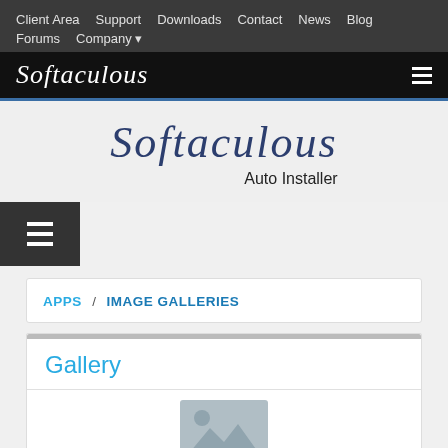Client Area  Support  Downloads  Contact  News  Blog  Forums  Company
[Figure (logo): Softaculous logo in white italic script on black background with hamburger menu icon]
[Figure (logo): Large Softaculous Auto Installer logo centered on light gray background]
[Figure (other): Dark hamburger menu button on left side]
APPS / IMAGE GALLERIES
Gallery
[Figure (photo): Partially visible image placeholder/thumbnail at bottom of page]